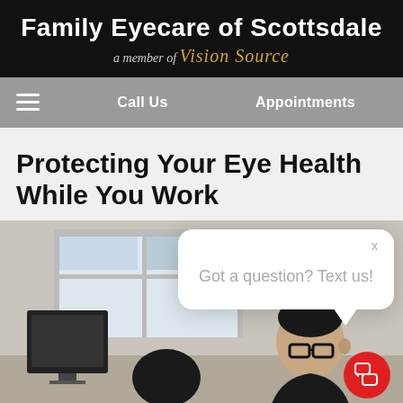Family Eyecare of Scottsdale — a member of Vision Source
Call Us  Appointments
Protecting Your Eye Health While You Work
[Figure (photo): Woman wearing glasses looking at a computer screen in an office environment, with a chat popup overlay reading 'Got a question? Text us!']
Got a question? Text us!